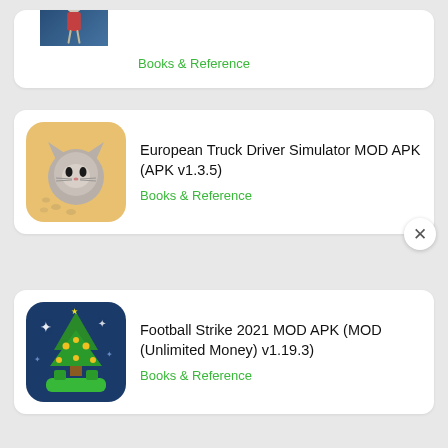[Figure (screenshot): App listing page showing three app cards: a partial top card with a deer/dark figure icon and Books & Reference category, a middle card for European Truck Driver Simulator MOD APK (APK v1.3.5) with a cat illustration icon and Books & Reference category, and a bottom card for Football Strike 2021 MOD APK (MOD (Unlimited Money) v1.19.3) with a Christmas tree/football icon and Books & Reference category. A close (X) button is visible in the bottom right.]